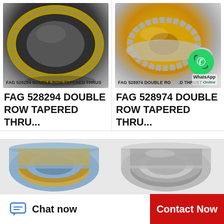[Figure (photo): FAG 528294 double row tapered thrust bearing - dark metallic ring with gold cage, top view against white background]
FAG 528294 DOUBLE ROW TAPERED THRUS
FAG 528294 DOUBLE ROW TAPERED THRU...
[Figure (photo): FAG 528974 double row tapered thrust bearing - gold and silver components disassembled, with WhatsApp Online overlay badge]
FAG 528974 DOUBLE RO...D THRUST
FAG 528974 DOUBLE ROW TAPERED THRU...
[Figure (photo): Bearing component - flat ring with gold/brass inner race and blue-gray outer housing, top view]
[Figure (photo): Bearing component - silver/steel ring bearing, top view]
Chat now
Contact Now